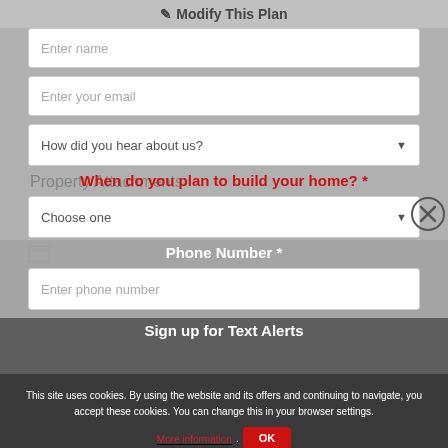✎ Modify This Plan
Enter name
Enter your email
How did you hear about us?
Property Attachments
When do you plan to build your home? *
Choose one
Phone Number *
Enter phone number
Sign up for Text Alerts
This site uses cookies. By using the website and its offers and continuing to navigate, you accept these cookies. You can change this in your browser settings.
More information. OK